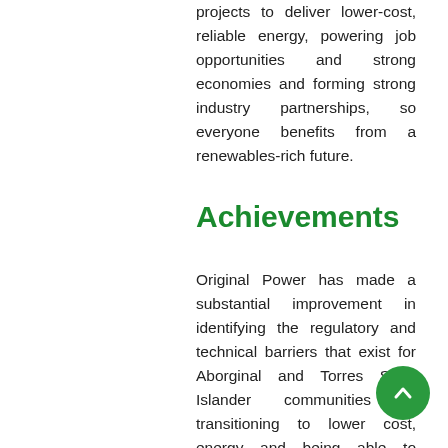projects to deliver lower-cost, reliable energy, powering job opportunities and strong economies and forming strong industry partnerships, so everyone benefits from a renewables-rich future.
Achievements
Original Power has made a substantial improvement in identifying the regulatory and technical barriers that exist for Aborginal and Torres Strait Islander communities in transitioning to lower cost, energy and being able to manage